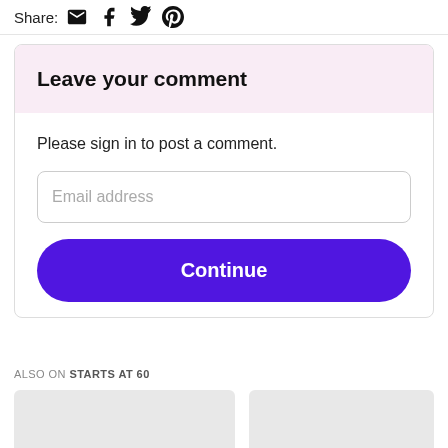Share: [email icon] [facebook icon] [twitter icon] [pinterest icon]
Leave your comment
Please sign in to post a comment.
Email address
Continue
ALSO ON STARTS AT 60